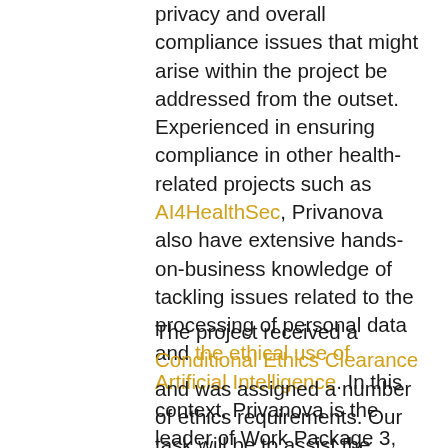privacy and overall compliance issues that might arise within the project be addressed from the outset. Experienced in ensuring compliance in other health-related projects such as AI4HealthSec, Privanova also have extensive hands-on-business knowledge of tackling issues related to the processing of personal data and the ethical use of Artificial Intelligence. In this context, Privanova is the leader of Work Package 3, which is fully dedicated to legal and ethics compliance of the project.
The project received a Conditional Ethics Clearance and was assigned a number of ethics requirements. Our task will be to assist the coordinator in responding to Ethics requirements received as part of the EC' Ethics Appraisal Procedure. We will identify the legal and ethical framework